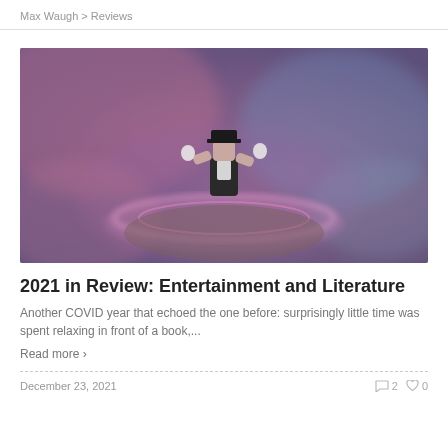Max Waugh > Reviews
[Figure (illustration): A stylized animated character (appears to be wearing a tuxedo/formal wear) spinning or dancing, set against a blurry purple-pink and blue abstract background with a glowing pink ring or halo effect around the figure.]
2021 in Review: Entertainment and Literature
Another COVID year that echoed the one before: surprisingly little time was spent relaxing in front of a book,...
Read more ›
December 23, 2021    💬 2  ♥ 0